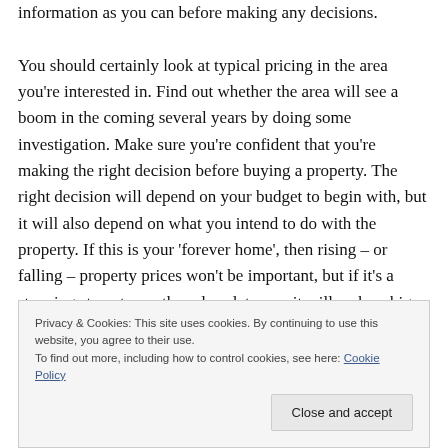information as you can before making any decisions.

You should certainly look at typical pricing in the area you're interested in. Find out whether the area will see a boom in the coming several years by doing some investigation. Make sure you're confident that you're making the right decision before buying a property. The right decision will depend on your budget to begin with, but it will also depend on what you intend to do with the property. If this is your 'forever home', then rising – or falling – property prices won't be important, but if it's a stepping stone to another place later on, it will make a big
Privacy & Cookies: This site uses cookies. By continuing to use this website, you agree to their use.
To find out more, including how to control cookies, see here: Cookie Policy
Close and accept